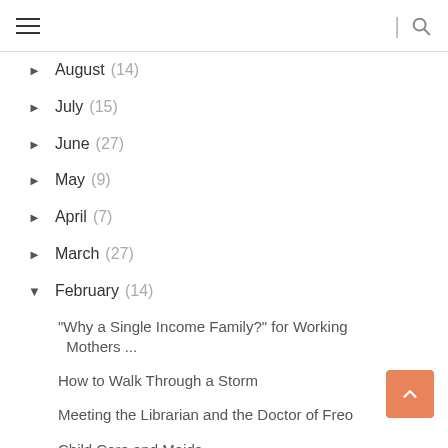☰  |  🔍
► August (14)
► July (15)
► June (27)
► May (9)
► April (7)
► March (27)
▼ February (14)
"Why a Single Income Family?" for Working Mothers ...
How to Walk Through a Storm
Meeting the Librarian and the Doctor of Freo
Child Care and Maids
When You Visit a Migration Agent, Bring Along a Sp...
Singapore Revisit Log #3.7: Farewell and ...